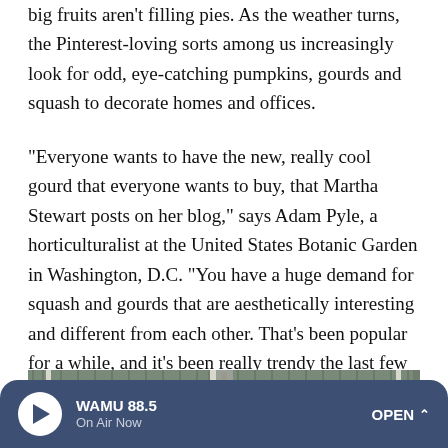big fruits aren't filling pies. As the weather turns, the Pinterest-loving sorts among us increasingly look for odd, eye-catching pumpkins, gourds and squash to decorate homes and offices.
"Everyone wants to have the new, really cool gourd that everyone wants to buy, that Martha Stewart posts on her blog," says Adam Pyle, a horticulturalist at the United States Botanic Garden in Washington, D.C. "You have a huge demand for squash and gourds that are aesthetically interesting and different from each other. That's been popular for a while, and it's been really trendy the last few years."
[Figure (photo): Partial view of a greenhouse or farm structure with green corrugated roof and white support beams]
WAMU 88.5 — On Air Now — OPEN